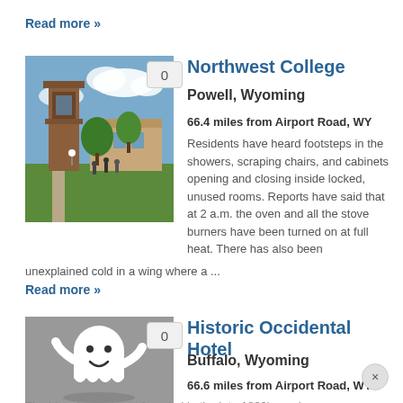Read more »
[Figure (photo): Campus photo of Northwest College showing a bell tower and buildings with trees and students on the grounds]
Northwest College
Powell, Wyoming
66.4 miles from Airport Road, WY
Residents have heard footsteps in the showers, scraping chairs, and cabinets opening and closing inside locked, unused rooms. Reports have said that at 2 a.m. the oven and all the stove burners have been turned on at full heat. There has also been unexplained cold in a wing where a ...
Read more »
[Figure (illustration): Cartoon ghost illustration on gray background]
Historic Occidental Hotel
Buffalo, Wyoming
66.6 miles from Airport Road, WY
The historic hotel was founded in the late 1880's, and was developed a reputation saloon and hotel frequented by outlaws and